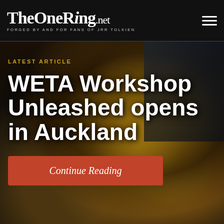TheOneRing.net — FORGED BY AND FOR FANS OF JRR TOLKIEN
[Figure (photo): Background photo of a creature/monster character in a workshop setting with screens/monitors, dimly lit with warm amber tones]
LATEST ARTICLE
WETA Workshop Unleashed opens in Auckland
Continue Reading